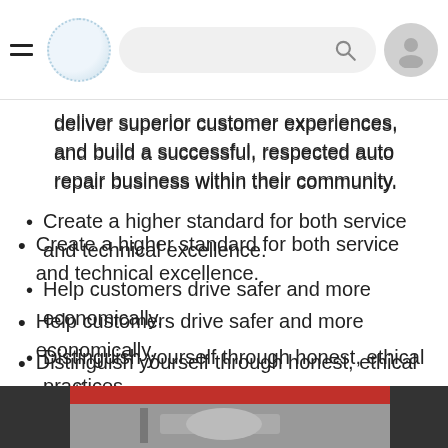[Navigation bar with hamburger menu, logo, search bar, and user avatar]
deliver superior customer experiences, and build a successful, respected auto repair business within their community.
Create a higher standard for both service and technical excellence.
Help customers drive safer and more economically.
Distinguish yourself through honest, ethical practices.
An automotive background is not necessary to run a successful Mr. Transmission repair business.
Gallery
[Figure (photo): A photo strip showing a car engine bay with what appears to be a cat or animal inside, partially visible at the bottom of the page.]